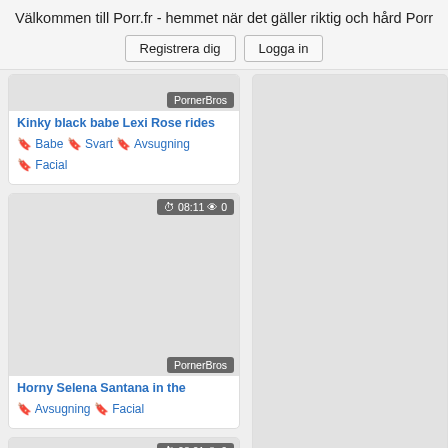Välkommen till Porr.fr - hemmet när det gäller riktig och hård Porr
Registrera dig   Logga in
[Figure (screenshot): Partial video thumbnail card with PornerBros badge]
Kinky black babe Lexi Rose rides
🏷 Babe 🏷 Svart 🏷 Avsugning 🏷 Facial
[Figure (screenshot): Video thumbnail card showing 08:11 duration and 0 views, PornerBros badge]
Horny Selena Santana in the
🏷 Avsugning 🏷 Facial
[Figure (screenshot): Video thumbnail card showing 08:01 duration and 0 views, partially visible at bottom]